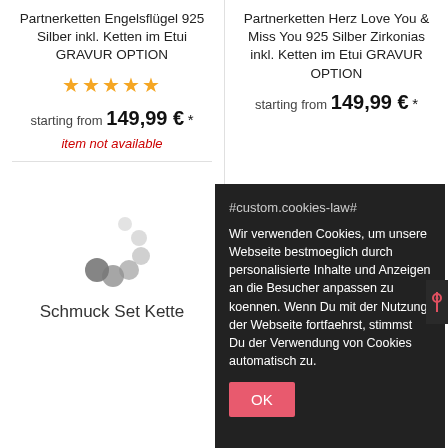Partnerketten Engelsflügel 925 Silber inkl. Ketten im Etui GRAVUR OPTION
[Figure (other): Five gold star rating icons]
starting from 149,99 € *
item not available
Partnerketten Herz Love You & Miss You 925 Silber Zirkonias inkl. Ketten im Etui GRAVUR OPTION
starting from 149,99 € *
[Figure (other): Loading spinner animation dots]
Schmuck Set Kette
#custom.cookies-law#
Wir verwenden Cookies, um unsere Webseite bestmoeglich durch personalisierte Inhalte und Anzeigen an die Besucher anpassen zu koennen. Wenn Du mit der Nutzung der Webseite fortfaehrst, stimmst Du der Verwendung von Cookies automatisch zu.
OK